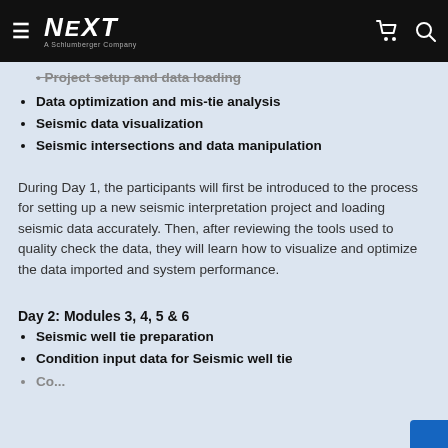NEXT — A Schlumberger Company
Project setup and data loading
Data optimization and mis-tie analysis
Seismic data visualization
Seismic intersections and data manipulation
During Day 1, the participants will first be introduced to the process for setting up a new seismic interpretation project and loading seismic data accurately. Then, after reviewing the tools used to quality check the data, they will learn how to visualize and optimize the data imported and system performance.
Day 2: Modules 3, 4, 5 & 6
Seismic well tie preparation
Condition input data for Seismic well tie